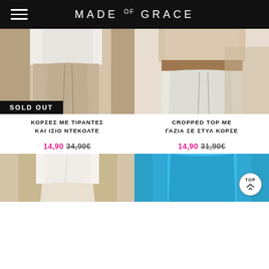MADE OF GRACE
[Figure (photo): Woman wearing white ruched top and beige/khaki trousers, with SOLD OUT badge overlay]
[Figure (photo): Woman wearing beige corset-style cropped top and white wide-leg trousers]
ΚΟΡΣΕΣ ΜΕ ΤΙΡΑΝΤΕΣ ΚΑΙ ΙΣΙΟ ΝΤΕΚΟΛΤΕ
CROPPED TOP ME ΓΑΖΙΑ ΣΕ ΣΤΥΛ ΚΟΡΣΕ
14,90  34,90€
14,90  31,90€
[Figure (photo): Woman wearing white bandeau/halter crop top]
[Figure (photo): Woman wearing blue/teal tank top]